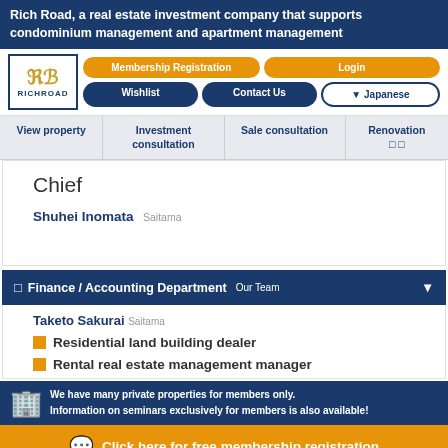Rich Road, a real estate investment company that supports condominium management and apartment management
[Figure (logo): RichRoad company logo with stylized RR letters in gold and company name in navy blue]
Membership Registration | Login | Wishlist | Contact Us | Japanese
View property | Investment consultation | Sale consultation | Renovation
Chief
Shuhei Inomata Saitama
Finance / Accounting Department Our Team
Taketo Sakurai Saitama
Residential land building dealer
Rental real estate management manager
We have many private properties for members only. Information on seminars exclusively for members is also available!
Click here for free membership registration